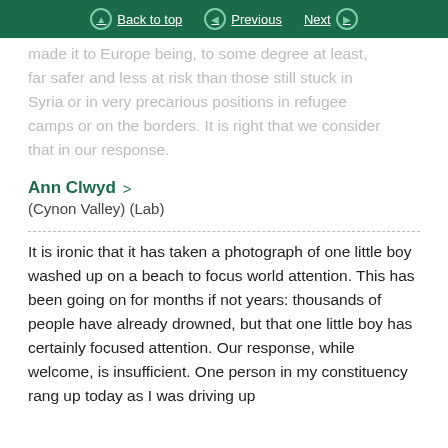Back to top | Previous | Next
made it to Europe being, to some degree at least, far safer and less at risk than those still stuck in Syria or in very precarious positions in refugee camps or on the borders. It is right that we consider that in our response.
Ann Clwyd
(Cynon Valley) (Lab)
It is ironic that it has taken a photograph of one little boy washed up on a beach to focus world attention. This has been going on for months if not years: thousands of people have already drowned, but that one little boy has certainly focused attention. Our response, while welcome, is insufficient. One person in my constituency rang up today as I was driving up